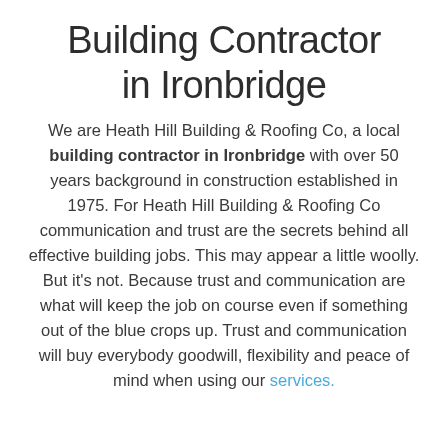Building Contractor in Ironbridge
We are Heath Hill Building & Roofing Co, a local building contractor in Ironbridge with over 50 years background in construction established in 1975. For Heath Hill Building & Roofing Co communication and trust are the secrets behind all effective building jobs. This may appear a little woolly. But it's not. Because trust and communication are what will keep the job on course even if something out of the blue crops up. Trust and communication will buy everybody goodwill, flexibility and peace of mind when using our services.